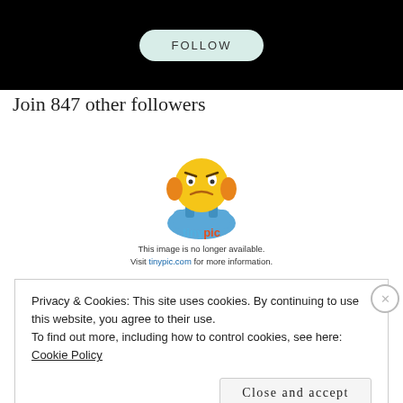[Figure (screenshot): Black banner with a light teal 'FOLLOW' button centered on it]
Join 847 other followers
[Figure (illustration): Tinypic placeholder image showing a sad yellow emoji mascot with the text 'This image is no longer available. Visit tinypic.com for more information.']
Privacy & Cookies: This site uses cookies. By continuing to use this website, you agree to their use.
To find out more, including how to control cookies, see here: Cookie Policy
Close and accept